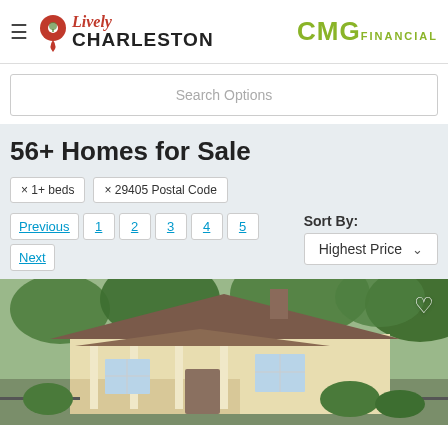Lively Charleston | CMG Financial
Search Options
56+ Homes for Sale
× 1+ beds
× 29405 Postal Code
Previous 1 2 3 4 5 Next | Sort By: Highest Price
[Figure (photo): Exterior photo of a yellow/cream single-story house with a front porch, pitched roof with brown shingles, surrounded by trees. A white heart/favorite icon appears in the top-right corner.]